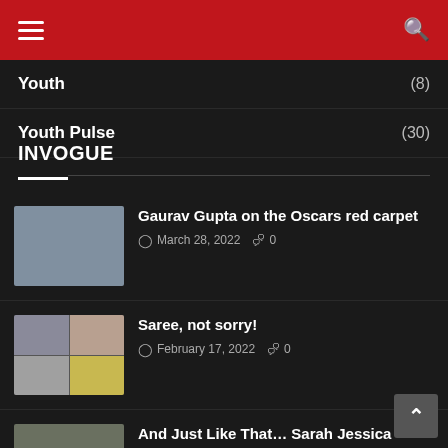Navigation header with hamburger menu and search icon
Youth (8)
Youth Pulse (30)
INVOGUE
Gaurav Gupta on the Oscars red carpet — March 28, 2022 — 0 comments
Saree, not sorry! — February 17, 2022 — 0 comments
And Just Like That... Sarah Jessica Parker wears a lehnga, calls it a sari — January 9, 2022 — 0 comments